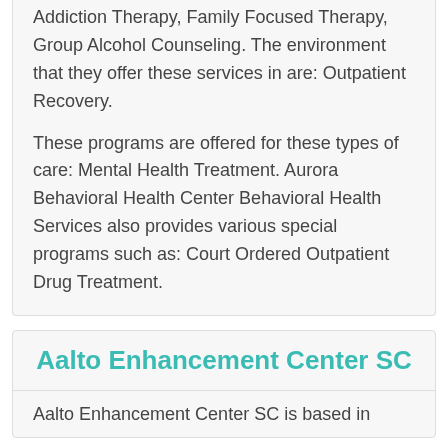Addiction Therapy, Family Focused Therapy, Group Alcohol Counseling. The environment that they offer these services in are: Outpatient Recovery.
These programs are offered for these types of care: Mental Health Treatment. Aurora Behavioral Health Center Behavioral Health Services also provides various special programs such as: Court Ordered Outpatient Drug Treatment.
Aalto Enhancement Center SC
Aalto Enhancement Center SC is based in